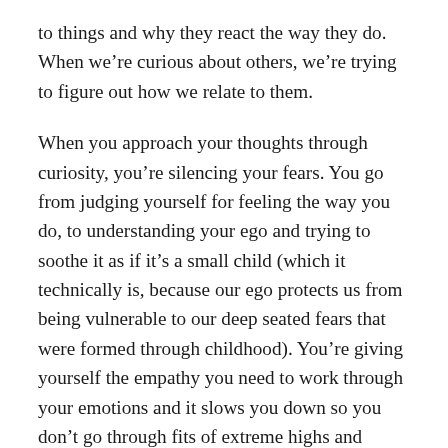to things and why they react the way they do. When we're curious about others, we're trying to figure out how we relate to them.
When you approach your thoughts through curiosity, you're silencing your fears. You go from judging yourself for feeling the way you do, to understanding your ego and trying to soothe it as if it's a small child (which it technically is, because our ego protects us from being vulnerable to our deep seated fears that were formed through childhood). You're giving yourself the empathy you need to work through your emotions and it slows you down so you don't go through fits of extreme highs and extreme lows.